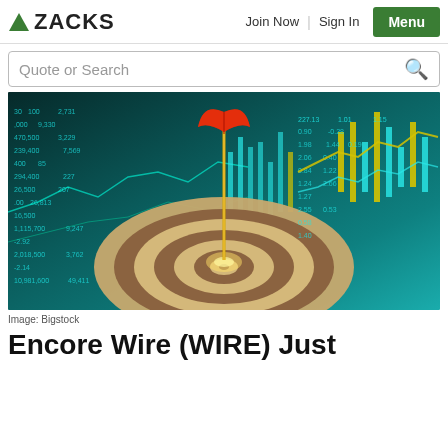ZACKS | Join Now | Sign In | Menu
[Figure (screenshot): Zacks website search bar with 'Quote or Search' placeholder text and magnifying glass icon]
[Figure (photo): A dart hitting the bullseye of a dartboard against a background of financial stock market charts with glowing teal and yellow candlestick charts]
Image: Bigstock
Encore Wire (WIRE) Just